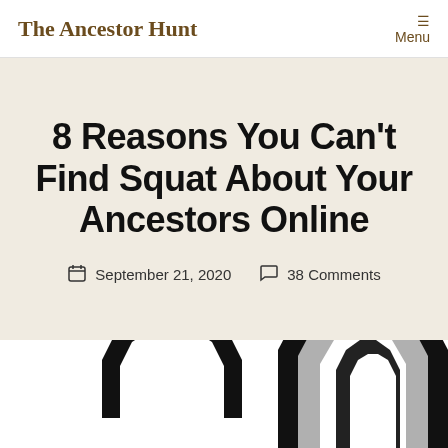The Ancestor Hunt  Menu
8 Reasons You Can't Find Squat About Your Ancestors Online
September 21, 2020  38 Comments
[Figure (illustration): Two concentric octagon arch shapes, one smaller on the left and one larger on the right, rendered in black and gray, resembling stylized ancestry or portal icons.]